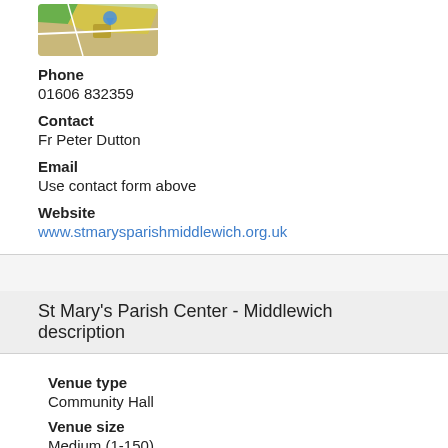[Figure (illustration): Google Maps style map icon thumbnail, showing a colorful map with green, yellow, and tan areas]
Phone
01606 832359
Contact
Fr Peter Dutton
Email
Use contact form above
Website
www.stmarysparishmiddlewich.org.uk
St Mary's Parish Center - Middlewich description
Venue type
Community Hall
Venue size
Medium (1-150)
A large flexible meeting space with Kitchen & Toilet facilities